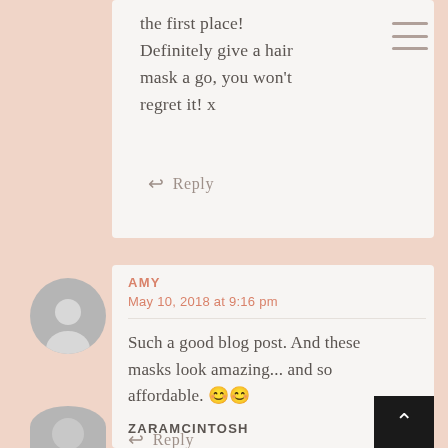the first place! Definitely give a hair mask a go, you won't regret it! x
↩ Reply
AMY
May 10, 2018 at 9:16 pm
Such a good blog post. And these masks look amazing... and so affordable. 😊😊
↩ Reply
ZARAMCINTOSH